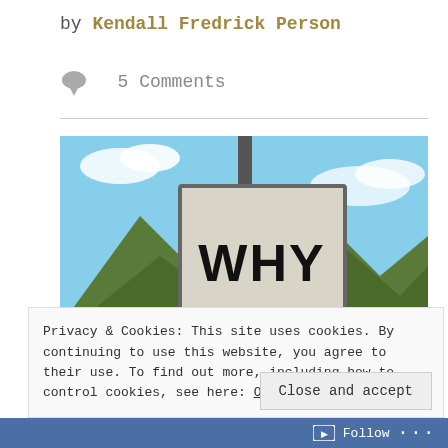by Kendall Fredrick Person
5 Comments
[Figure (photo): A roadside sign reading 'WHY ?' against a backdrop of mountains and blue sky]
Privacy & Cookies: This site uses cookies. By continuing to use this website, you agree to their use. To find out more, including how to control cookies, see here: Our Cookie Policy
Close and accept
Follow